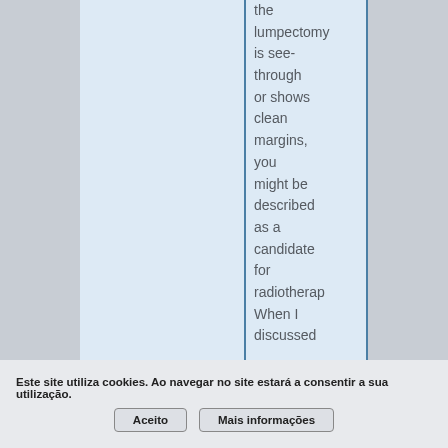the lumpectomy is see-through or shows clean margins, you might be described as a candidate for radiotherapy. When I discussed
Este site utiliza cookies. Ao navegar no site estará a consentir a sua utilização.